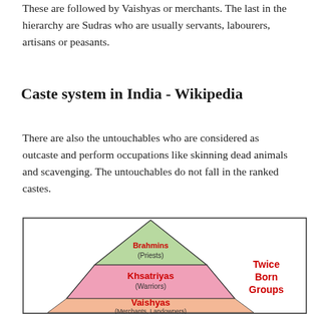These are followed by Vaishyas or merchants. The last in the hierarchy are Sudras who are usually servants, labourers, artisans or peasants.
Caste system in India - Wikipedia
There are also the untouchables who are considered as outcaste and perform occupations like skinning dead animals and scavenging. The untouchables do not fall in the ranked castes.
[Figure (infographic): Pyramid diagram showing the Hindu caste system hierarchy. Top tier (green): Brahmins (Priests). Middle tier (pink): Khsatriyas (Warriors). Lower tier (peach/salmon): Vaishyas (Merchants, Landowners). A label on the right side reads 'Twice Born Groups' in red bold text. The pyramid is outlined in black on a white background.]